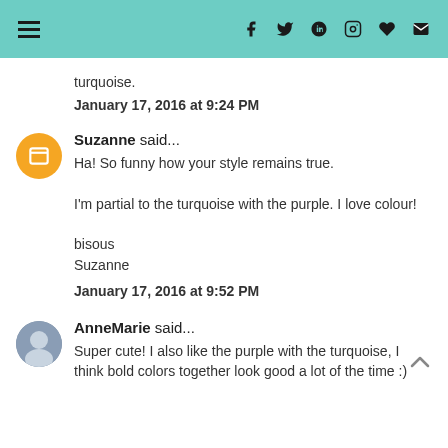Navigation and social icons header bar
turquoise.
January 17, 2016 at 9:24 PM
Suzanne said...
Ha! So funny how your style remains true.

I'm partial to the turquoise with the purple. I love colour!

bisous
Suzanne
January 17, 2016 at 9:52 PM
AnneMarie said...
Super cute! I also like the purple with the turquoise, I think bold colors together look good a lot of the time :)